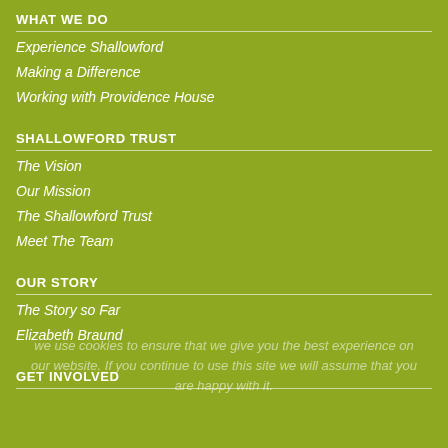WHAT WE DO
Experience Shallowford
Making a Difference
Working with Providence House
SHALLOWFORD TRUST
The Vision
Our Mission
The Shallowford Trust
Meet The Team
OUR STORY
The Story so Far
Elizabeth Braund
we use cookies to ensure that we give you the best experience on our website. If you continue to use this site we will assume that you are happy with it.
GET INVOLVED